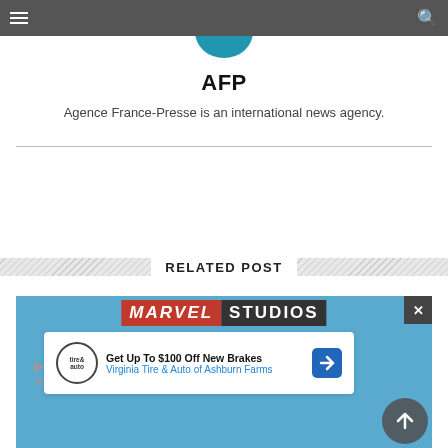Navigation bar with hamburger menu and search icon
[Figure (logo): AFP blue circle logo (partially visible at top)]
AFP
Agence France-Presse is an international news agency.
RELATED POST
[Figure (photo): Marvel Studios related post image with advertisement overlay showing 'Get Up To $100 Off New Brakes' from Virginia Tire & Auto of Ashburn Farms]